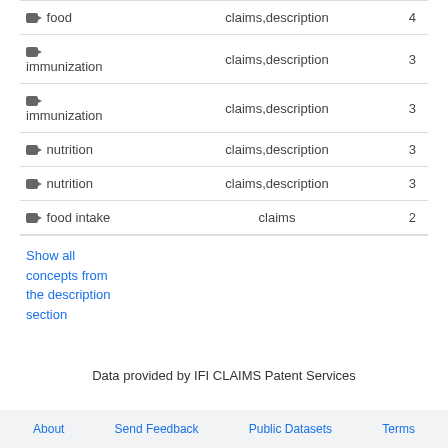| Concept | Found in | Count |
| --- | --- | --- |
| food | claims,description | 4 |
| immunization | claims,description | 3 |
| immunization | claims,description | 3 |
| nutrition | claims,description | 3 |
| nutrition | claims,description | 3 |
| food intake | claims | 2 |
Show all concepts from the description section
Data provided by IFI CLAIMS Patent Services
About  Send Feedback  Public Datasets  Terms